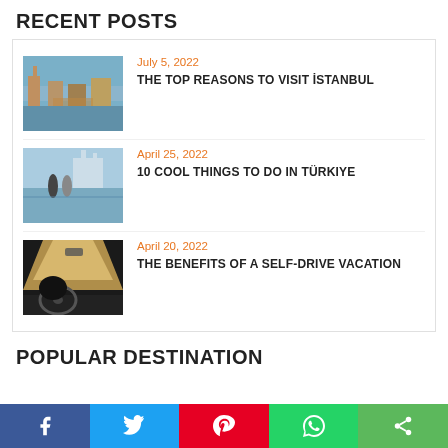RECENT POSTS
July 5, 2022 — THE TOP REASONS TO VISIT İSTANBUL
April 25, 2022 — 10 COOL THINGS TO DO IN TÜRKIYE
April 20, 2022 — THE BENEFITS OF A SELF-DRIVE VACATION
POPULAR DESTINATION